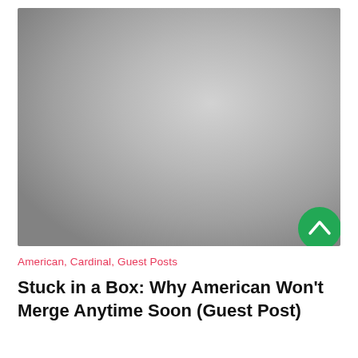[Figure (photo): A large placeholder/blank grey image area taking up the top portion of the page, with gradient shading from lighter grey in the upper region to darker grey toward the lower corners.]
American, Cardinal, Guest Posts
Stuck in a Box: Why American Won't Merge Anytime Soon (Guest Post)